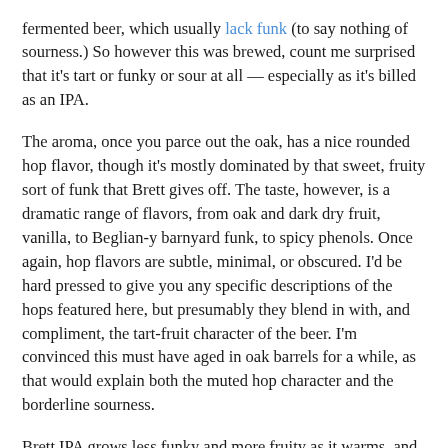fermented beer, which usually lack funk (to say nothing of sourness.) So however this was brewed, count me surprised that it's tart or funky or sour at all — especially as it's billed as an IPA.
The aroma, once you parce out the oak, has a nice rounded hop flavor, though it's mostly dominated by that sweet, fruity sort of funk that Brett gives off. The taste, however, is a dramatic range of flavors, from oak and dark dry fruit, vanilla, to Beglian-y barnyard funk, to spicy phenols. Once again, hop flavors are subtle, minimal, or obscured. I'd be hard pressed to give you any specific descriptions of the hops featured here, but presumably they blend in with, and compliment, the tart-fruit character of the beer. I'm convinced this must have aged in oak barrels for a while, as that would explain both the muted hop character and the borderline sourness.
Brett IPA grows less funky and more fruity as it warms, and the clean finish helps pull the sprawling range of flavors together. With a rich or lingering finish, this might grow tedious, but it's actually pretty drinkable for such an oddball. As just a random beer, I'm very glad I tried this. It's